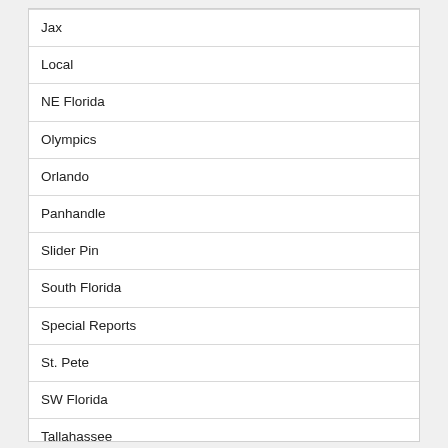Jax
Local
NE Florida
Olympics
Orlando
Panhandle
Slider Pin
South Florida
Special Reports
St. Pete
SW Florida
Tallahassee
Tampa Bay